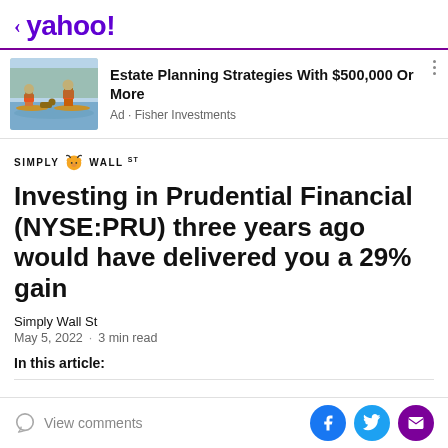< yahoo!
[Figure (illustration): Ad banner with illustration of two people in life jackets on paddleboards with a dog, promoting Fisher Investments estate planning]
Estate Planning Strategies With $500,000 Or More
Ad • Fisher Investments
[Figure (logo): Simply Wall St logo with bull icon]
Investing in Prudential Financial (NYSE:PRU) three years ago would have delivered you a 29% gain
Simply Wall St
May 5, 2022 · 3 min read
In this article:
View comments